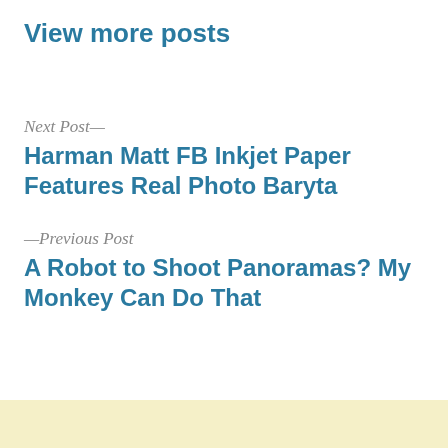View more posts
Next Post—
Harman Matt FB Inkjet Paper Features Real Photo Baryta
—Previous Post
A Robot to Shoot Panoramas? My Monkey Can Do That